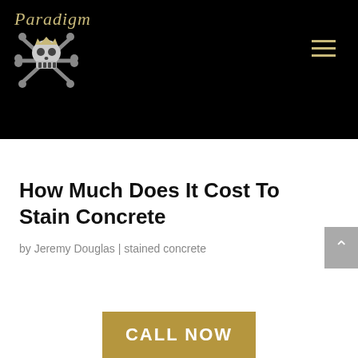[Figure (logo): Paradigm company logo with skull and crossbones graphic on black background, with hamburger menu icon on the right]
How Much Does It Cost To Stain Concrete
by Jeremy Douglas | stained concrete
[Figure (other): CALL NOW button in tan/gold color]